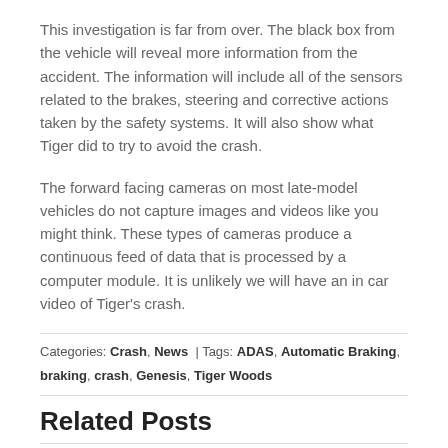This investigation is far from over. The black box from the vehicle will reveal more information from the accident. The information will include all of the sensors related to the brakes, steering and corrective actions taken by the safety systems. It will also show what Tiger did to try to avoid the crash.
The forward facing cameras on most late-model vehicles do not capture images and videos like you might think. These types of cameras produce a continuous feed of data that is processed by a computer module. It is unlikely we will have an in car video of Tiger's crash.
Categories: Crash, News | Tags: ADAS, Automatic Braking, braking, crash, Genesis, Tiger Woods
Related Posts